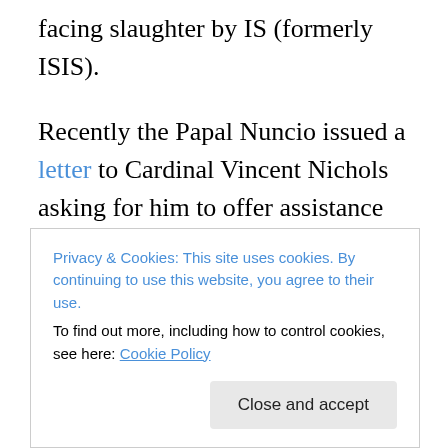facing slaughter by IS (formerly ISIS).
Recently the Papal Nuncio issued a letter to Cardinal Vincent Nichols asking for him to offer assistance in spreading a request from Pope Francis that initiatives be undertaken to highlight the plight of these people, and to offer them help and support.
Mr Crabb, please, I urge you, speak out on their behalf in our parliament, that something may be done to rescue, protect or offer humanitarian support to these most vulnerable people
Privacy & Cookies: This site uses cookies. By continuing to use this website, you agree to their use.
To find out more, including how to control cookies, see here: Cookie Policy